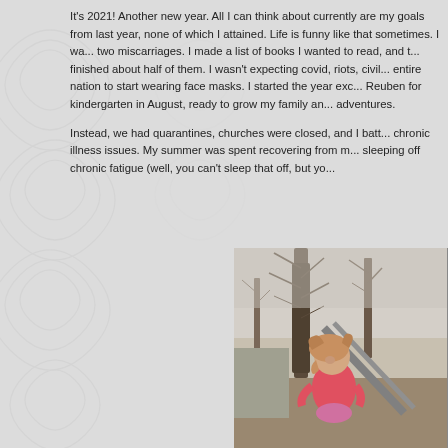It's 2021! Another new year. All I can think about currently are my goals from last year, none of which I attained. Life is funny like that sometimes. I was going to have a baby, two miscarriages. I made a list of books I wanted to read, and then read books, but only finished about half of them. I wasn't expecting covid, riots, civil unrest, and for the entire nation to start wearing face masks. I started the year excited about sending Reuben for kindergarten in August, ready to grow my family and go on new family adventures.
Instead, we had quarantines, churches were closed, and I battled a myriad of chronic illness issues. My summer was spent recovering from my miscarriages and sleeping off chronic fatigue (well, you can't sleep that off, but yo...
[Figure (photo): Two outdoor photos of children. Left photo: a young girl in a pink hoodie climbing or leaning on something outdoors with bare winter trees in the background. Right photo (partially visible): a boy in a blue jacket sitting outdoors with bare trees in the background.]